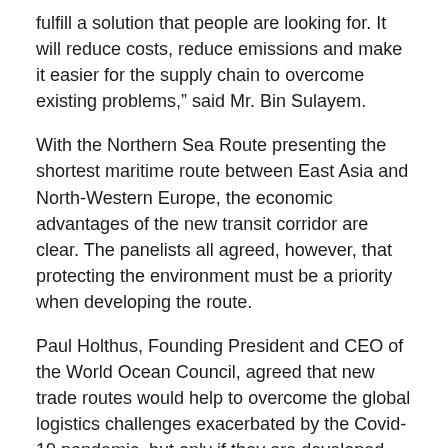fulfill a solution that people are looking for. It will reduce costs, reduce emissions and make it easier for the supply chain to overcome existing problems,” said Mr. Bin Sulayem.
With the Northern Sea Route presenting the shortest maritime route between East Asia and North-Western Europe, the economic advantages of the new transit corridor are clear. The panelists all agreed, however, that protecting the environment must be a priority when developing the route.
Paul Holthus, Founding President and CEO of the World Ocean Council, agreed that new trade routes would help to overcome the global logistics challenges exacerbated by the Covid-19 pandemic, but only if they are developed sustainably.
“There are needs and opportunities for new trade routes. If these are done responsibly, it is adding to the security and resilience of the global economy,” said Mr. Holthus.